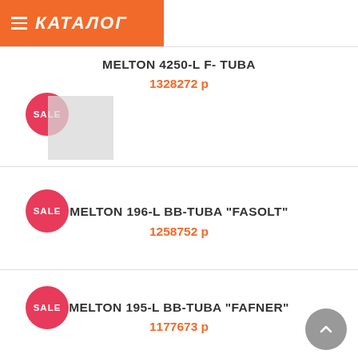КАТАЛОГ
SALE
MELTON 4250-L F- TUBA
1328272 р
SALE
MELTON 196-L BB-TUBA "FASOLT"
1258752 р
SALE
MELTON 195-L BB-TUBA "FAFNER"
1177673 р
SALE
BESSON BE994-2 SOVEREIGN BB- TUBA
1176202 р